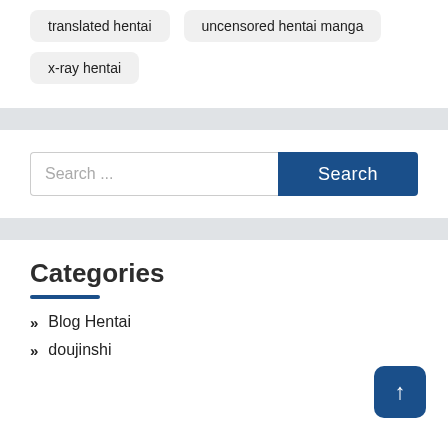translated hentai
uncensored hentai manga
x-ray hentai
Search ...
Categories
Blog Hentai
doujinshi